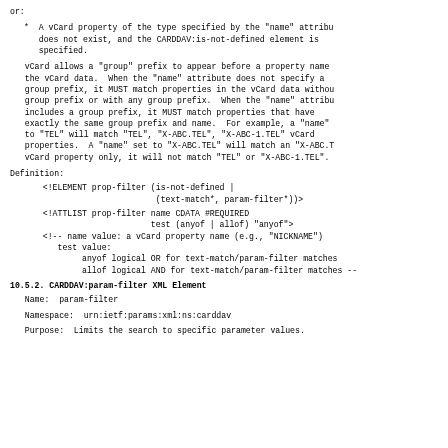or:
*  A vCard property of the type specified by the "name" attribute
   does not exist, and the CARDDAV:is-not-defined element is
   specified.
vCard allows a "group" prefix to appear before a property name in
the vCard data.  When the "name" attribute does not specify a
group prefix, it MUST match properties in the vCard data without a
group prefix or with any group prefix.  When the "name" attribute
includes a group prefix, it MUST match properties that have
exactly the same group prefix and name.  For example, a "name" set
to "TEL" will match "TEL", "X-ABC.TEL", "X-ABC-1.TEL" vCard
properties.  A "name" set to "X-ABC.TEL" will match an "X-ABC.TEL"
vCard property only, it will not match "TEL" or "X-ABC-1.TEL".
Definition:
<!ELEMENT prop-filter (is-not-defined |
                       (text-match*, param-filter*))>
<!ATTLIST prop-filter name CDATA #REQUIRED
                      test (anyof | allof) "anyof">
<!-- name value: a vCard property name (e.g., "NICKNAME")
   test value:
        anyof logical OR for text-match/param-filter matches
        allof logical AND for text-match/param-filter matches --
10.5.2.  CARDDAV:param-filter XML Element
Name:  param-filter
Namespace:  urn:ietf:params:xml:ns:carddav
Purpose:  Limits the search to specific parameter values.